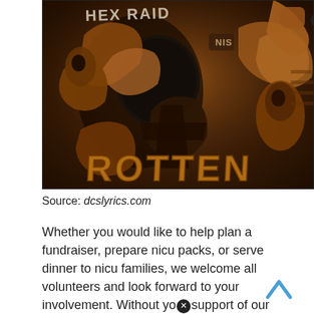[Figure (illustration): Dark fantasy illustration album art titled 'HEX RAID - ROTTEN'. Features stylized monstrous figures in brown/orange tones with text 'HEX RAID' at top and 'ROTTEN' in large letters at bottom. A close button (X) appears in the top center area.]
Source: dcslyrics.com
Whether you would like to help plan a fundraiser, prepare nicu packs, or serve dinner to nicu families, we welcome all volunteers and look forward to your involvement. Without you support of our organization, we wouldn't be able to reach out and